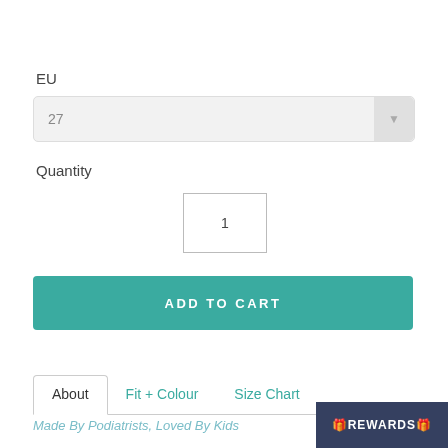EU
[Figure (screenshot): Dropdown selector showing value '27' with a grey arrow button on the right]
Quantity
[Figure (screenshot): Quantity input box showing value '1']
ADD TO CART
About   Fit + Colour   Size Chart
Made By Podiatrists, Loved By Kids
🎁REWARDS🎁